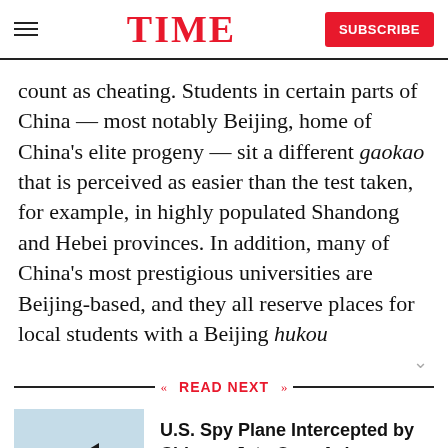TIME | SUBSCRIBE
count as cheating. Students in certain parts of China — most notably Beijing, home of China's elite progeny — sit a different gaokao that is perceived as easier than the test taken, for example, in highly populated Shandong and Hebei provinces. In addition, many of China's most prestigious universities are Beijing-based, and they all reserve places for local students with a Beijing hukou
READ NEXT
[Figure (photo): A military spy plane on a runway or carrier deck]
U.S. Spy Plane Intercepted by Chinese Jets Over Asian Waters